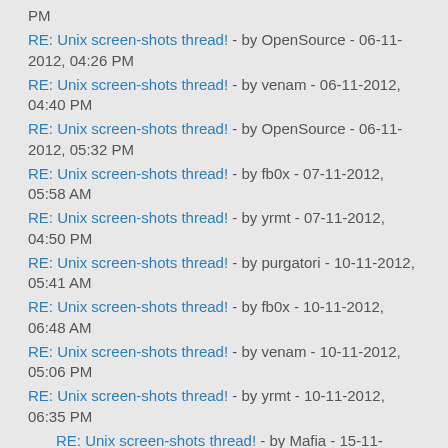PM
RE: Unix screen-shots thread! - by OpenSource - 06-11-2012, 04:26 PM
RE: Unix screen-shots thread! - by venam - 06-11-2012, 04:40 PM
RE: Unix screen-shots thread! - by OpenSource - 06-11-2012, 05:32 PM
RE: Unix screen-shots thread! - by fb0x - 07-11-2012, 05:58 AM
RE: Unix screen-shots thread! - by yrmt - 07-11-2012, 04:50 PM
RE: Unix screen-shots thread! - by purgatori - 10-11-2012, 05:41 AM
RE: Unix screen-shots thread! - by fb0x - 10-11-2012, 06:48 AM
RE: Unix screen-shots thread! - by venam - 10-11-2012, 05:06 PM
RE: Unix screen-shots thread! - by yrmt - 10-11-2012, 06:35 PM
RE: Unix screen-shots thread! - by Mafia - 15-11-2012, 05:50 AM
RE: Unix screen-shots thread! - by jolia - 11-11-2012, 03:20 PM
RE: Unix screen-shots thread! - by venam - 15-11-2012